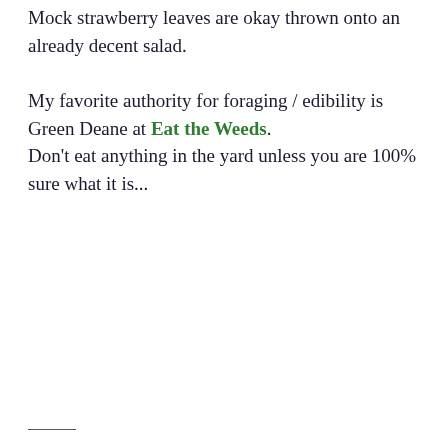Mock strawberry leaves are okay thrown onto an already decent salad.
My favorite authority for foraging / edibility is Green Deane at Eat the Weeds. Don't eat anything in the yard unless you are 100% sure what it is...